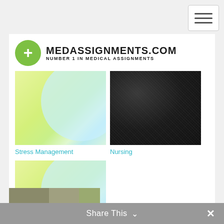[Figure (logo): MedAssignments.com logo with green circle plus sign and site name]
[Figure (photo): Stress Management thumbnail - green yellow abstract swirl background]
[Figure (photo): Nursing thumbnail - dark textured black background]
Stress Management
Nursing
[Figure (photo): Second stress management thumbnail - green yellow abstract swirl background, partially cut off]
Share This ✓ ×